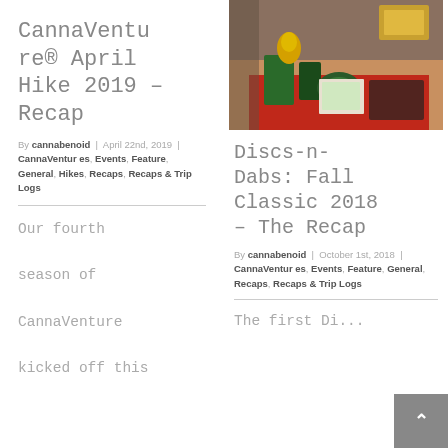CannaVenture® April Hike 2019 – Recap
By cannabenoid | April 22nd, 2019 | CannaVentures, Events, Feature, General, Hikes, Recaps, Recaps & Trip Logs
Our fourth season of CannaVenture kicked off this
[Figure (photo): Photo of event merchandise and items on a table with red tablecloth in a store setting]
Discs-n-Dabs: Fall Classic 2018 – The Recap
By cannabenoid | October 1st, 2018 | CannaVentures, Events, Feature, General, Recaps, Recaps & Trip Logs
The first Di...